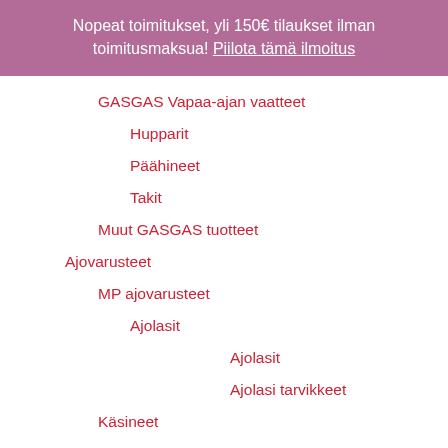Nopeat toimitukset, yli 150€ tilaukset ilman toimitusmaksua! Piilota tämä ilmoitus
GASGAS Vapaa-ajan vaatteet
Hupparit
Päähineet
Takit
Muut GASGAS tuotteet
Ajovarusteet
MP ajovarusteet
Ajolasit
Ajolasit
Ajolasi tarvikkeet
Käsineet
Kengät